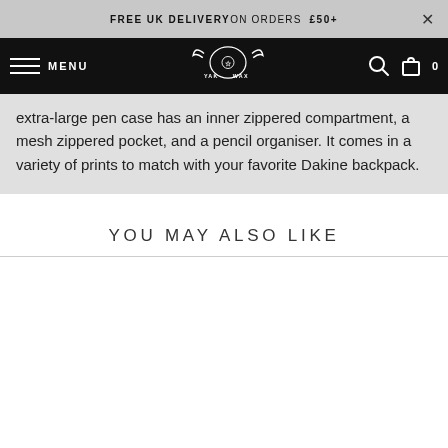FREE UK DELIVERY ON ORDERS £50+
YAK WAX — MENU — navigation with search and cart (0)
extra-large pen case has an inner zippered compartment, a mesh zippered pocket, and a pencil organiser. It comes in a variety of prints to match with your favorite Dakine backpack.
YOU MAY ALSO LIKE